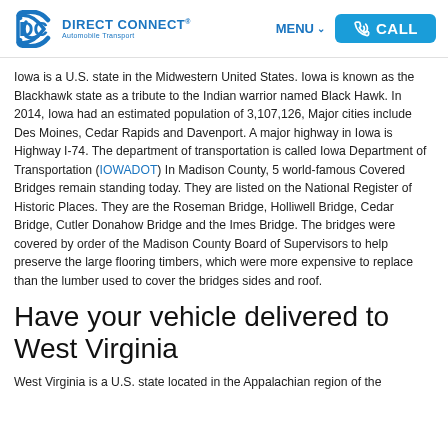Direct Connect Automobile Transport — MENU — CALL
Iowa is a U.S. state in the Midwestern United States. Iowa is known as the Blackhawk state as a tribute to the Indian warrior named Black Hawk. In 2014, Iowa had an estimated population of 3,107,126, Major cities include Des Moines, Cedar Rapids and Davenport. A major highway in Iowa is Highway I-74. The department of transportation is called Iowa Department of Transportation (IOWADOT) In Madison County, 5 world-famous Covered Bridges remain standing today. They are listed on the National Register of Historic Places. They are the Roseman Bridge, Holliwell Bridge, Cedar Bridge, Cutler Donahow Bridge and the Imes Bridge. The bridges were covered by order of the Madison County Board of Supervisors to help preserve the large flooring timbers, which were more expensive to replace than the lumber used to cover the bridges sides and roof.
Have your vehicle delivered to West Virginia
West Virginia is a U.S. state located in the Appalachian region of the